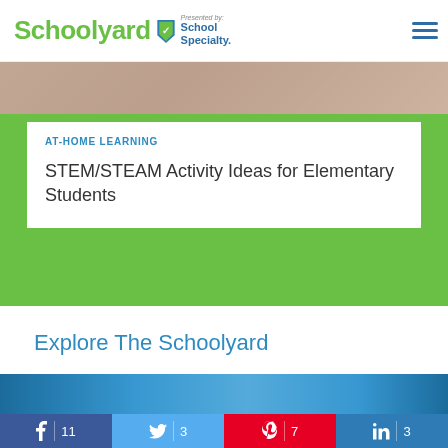Schoolyard — Presented by School Specialty
[Figure (photo): Cropped photo strip showing students at top of card]
AT-HOME LEARNING
STEM/STEAM Activity Ideas for Elementary Students
Explore The Schoolyard
[Figure (photo): Blue-tinted photo of students, partially visible]
f 11  t 3  P 7  in 3